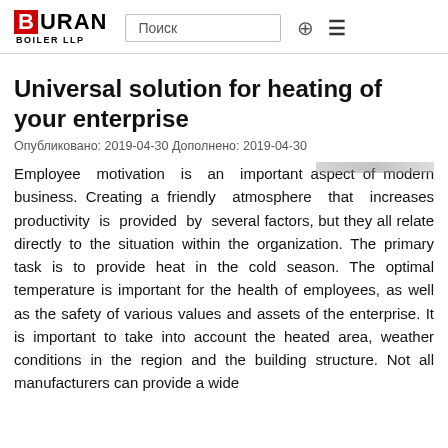BURAN BOILER LLP
Universal solution for heating of your enterprise
Опубликовано: 2019-04-30 Дополнено: 2019-04-30
Employee motivation is an important aspect of modern business. Creating a friendly atmosphere that increases productivity is provided by several factors, but they all relate directly to the situation within the organization. The primary task is to provide heat in the cold season. The optimal temperature is important for the health of employees, as well as the safety of various values and assets of the enterprise. It is important to take into account the heated area, weather conditions in the region and the building structure. Not all manufacturers can provide a wide